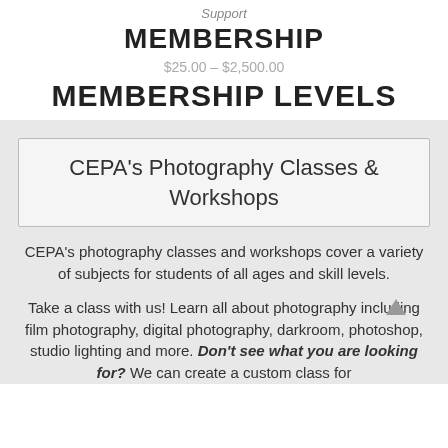Support
MEMBERSHIP
$25.00 – $2,500.00
MEMBERSHIP LEVELS
CEPA's Photography Classes & Workshops
CEPA's photography classes and workshops cover a variety of subjects for students of all ages and skill levels.
Take a class with us! Learn all about photography including film photography, digital photography, darkroom, photoshop, studio lighting and more. Don't see what you are looking for? We can create a custom class for